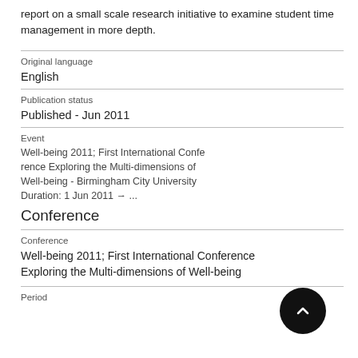report on a small scale research initiative to examine student time management in more depth.
Original language
English
Publication status
Published - Jun 2011
Event
Well-being 2011; First International Conference Exploring the Multi-dimensions of Well-being - Birmingham City University
Duration: 1 Jun 2011 → ...
Conference
Conference
Well-being 2011; First International Conference Exploring the Multi-dimensions of Well-being
Period